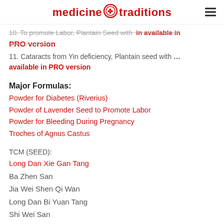medicine traditions
10. To promote Labor, Plantain Seed with ... available in PRO version
11. Cataracts from Yin deficiency, Plantain seed with ... available in PRO version
Major Formulas:
Powder for Diabetes (Riverius)
Powder of Lavender Seed to Promote Labor
Powder for Bleeding During Pregnancy
Troches of Agnus Castus
TCM (SEED):
Long Dan Xie Gan Tang
Ba Zhen San
Jia Wei Shen Qi Wan
Long Dan Bi Yuan Tang
Shi Wei San